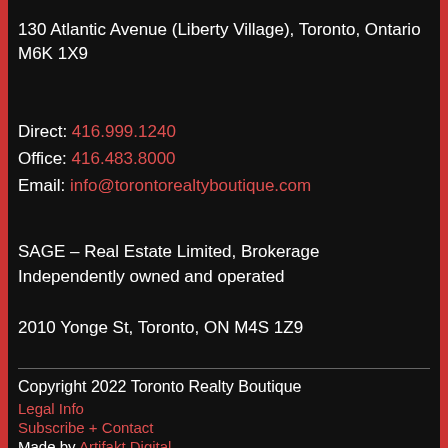130 Atlantic Avenue (Liberty Village), Toronto, Ontario M6K 1X9
Direct: 416.999.1240
Office: 416.483.8000
Email: info@torontorealtyboutique.com
SAGE – Real Estate Limited, Brokerage
Independently owned and operated
2010 Yonge St, Toronto, ON M4S 1Z9
Copyright 2022 Toronto Realty Boutique
Legal Info
Subscribe + Contact
Made by Artifakt Digital